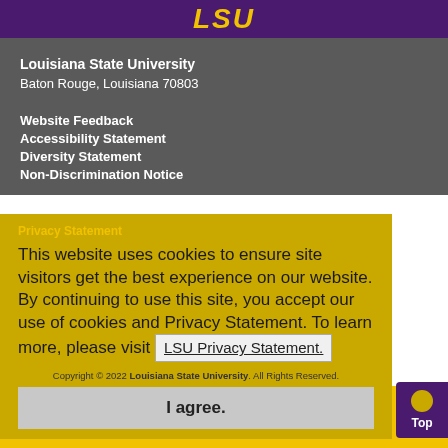LSU
Louisiana State University
Baton Rouge, Louisiana 70803
Website Feedback
Accessibility Statement
Diversity Statement
Non-Discrimination Notice
Privacy Statement
This website uses cookies to ensure site visitors get the best experience on our website. By continuing to use this site, you accept our use of cookies and Privacy Statement. To learn more, please visit LSU Privacy Statement.
Supplier Diversity
213 Thomas Boyd Hall
Baton Rouge, LA 70803
Telephone: 225-578-2291
suppdiversity@lsu.edu
I agree.
Copyright © 2022 Louisiana State University. All Rights Reserved.